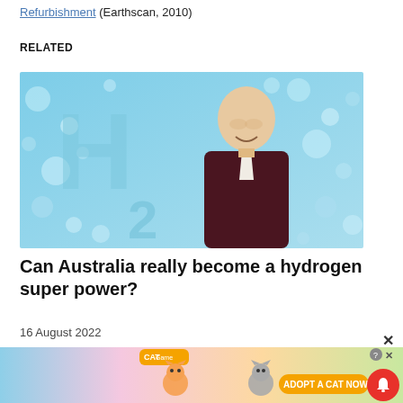Refurbishment (Earthscan, 2010)
RELATED
[Figure (photo): A man in a dark blazer smiling, standing in front of a background showing H2 water droplet imagery in light blue tones.]
Can Australia really become a hydrogen super power?
16 August 2022
[Figure (screenshot): Advertisement banner: Cat game with cartoon cats, 'Adopt a Cat Now' button, notification bell icon, and close button.]